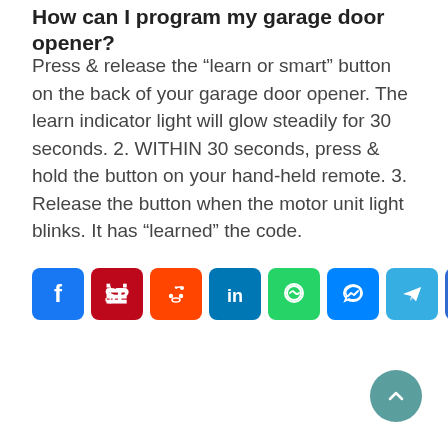How can I program my garage door opener?
Press & release the “learn or smart” button on the back of your garage door opener. The learn indicator light will glow steadily for 30 seconds. 2. WITHIN 30 seconds, press & hold the button on your hand-held remote. 3. Release the button when the motor unit light blinks. It has “learned” the code.
[Figure (infographic): Social sharing buttons: Facebook, Pinterest, Reddit, LinkedIn, WhatsApp, Messenger, Telegram, Share]